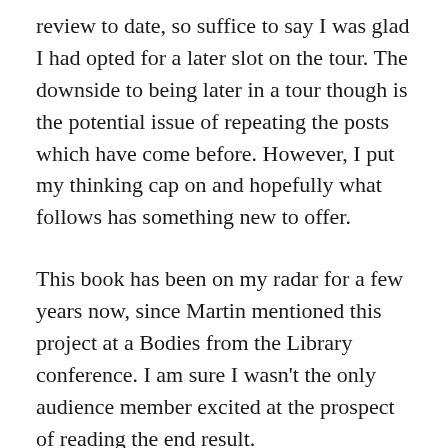review to date, so suffice to say I was glad I had opted for a later slot on the tour. The downside to being later in a tour though is the potential issue of repeating the posts which have come before. However, I put my thinking cap on and hopefully what follows has something new to offer.
This book has been on my radar for a few years now, since Martin mentioned this project at a Bodies from the Library conference. I am sure I wasn't the only audience member excited at the prospect of reading the end result.